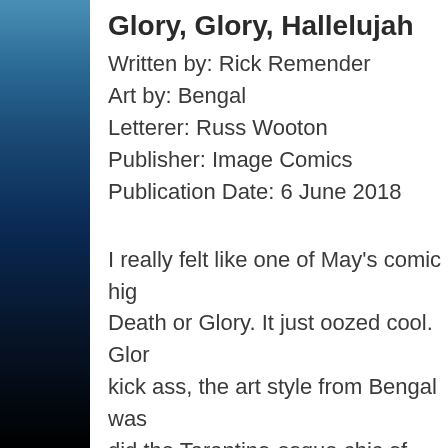[Figure (illustration): Left sidebar with dark blue gradient from medium blue at top to black at bottom]
Glory, Glory, Hallelujah
Written by: Rick Remender
Art by: Bengal
Letterer: Russ Wooton
Publisher: Image Comics
Publication Date: 6 June 2018
I really felt like one of May's comic hig Death or Glory. It just oozed cool. Glor kick ass, the art style from Bengal was did the Tarantino-esque chic of issue 1